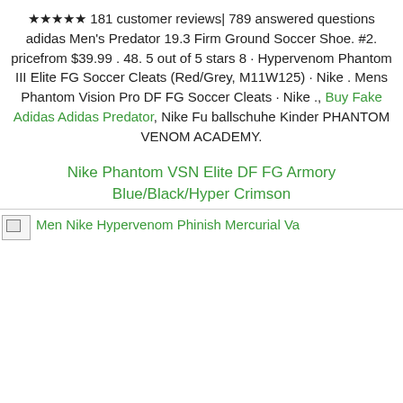★★★★★ 181 customer reviews| 789 answered questions adidas Men's Predator 19.3 Firm Ground Soccer Shoe. #2. pricefrom $39.99 . 48. 5 out of 5 stars 8 · Hypervenom Phantom III Elite FG Soccer Cleats (Red/Grey, M11W125) · Nike . Mens Phantom Vision Pro DF FG Soccer Cleats · Nike ., Buy Fake Adidas Adidas Predator, Nike Fu ballschuhe Kinder PHANTOM VENOM ACADEMY.
Nike Phantom VSN Elite DF FG Armory Blue/Black/Hyper Crimson
[Figure (photo): Broken image placeholder followed by text: Men Nike Hypervenom Phinish Mercurial Va...]